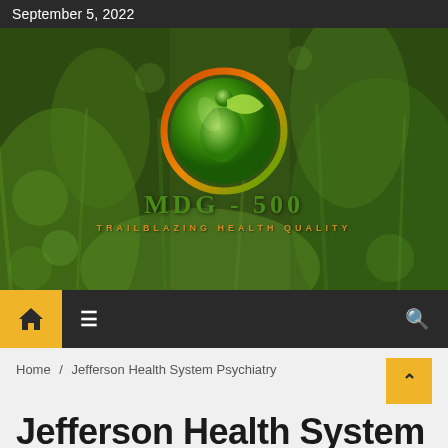September 5, 2022
[Figure (logo): MDG-500 logo on green bokeh background. A circular green and orange emblem with a stylized person/leaf figure inside. Text reads 'MDG-500' and 'TRAILBLAZING HEALTH QUALITY'.]
Home / Jefferson Health System Psychiatry
Jefferson Health System Psychiatry